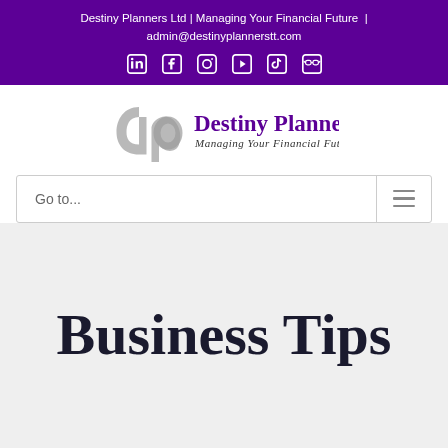Destiny Planners Ltd | Managing Your Financial Future | admin@destinyplannerstt.com
[Figure (logo): Destiny Planners logo with 'dp' script mark and company name 'Destiny Planners – Managing Your Financial Future']
Go to...
Business Tips